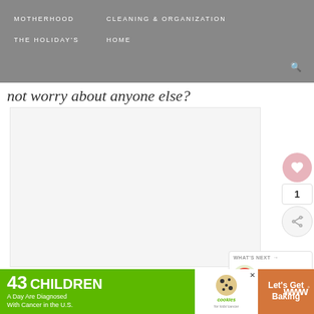MOTHERHOOD   CLEANING & ORGANIZATION   THE HOLIDAY'S   HOME
not worry about anyone else?
[Figure (photo): White/light gray image slider area with three navigation dots below]
WHAT'S NEXT →  5 Ways to Keep Your...
[Figure (infographic): Ad banner: 43 CHILDREN A Day Are Diagnosed With Cancer in the U.S. - cookies for kids cancer - Let's Get Baking]